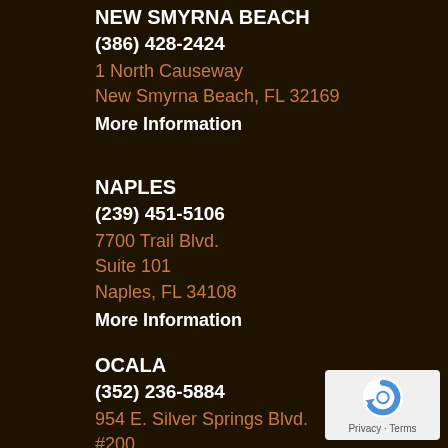NEW SMYRNA BEACH
(386) 428-2424
1 North Causeway
New Smyrna Beach, FL 32169
More Information
NAPLES
(239) 451-5106
7700 Trail Blvd.
Suite 101
Naples, FL 34108
More Information
OCALA
(352) 236-5884
954 E. Silver Springs Blvd.
#200
Ocala, FL 34470
More Information
[Figure (logo): reCAPTCHA logo with Privacy and Terms text]